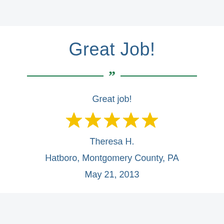Great Job!
Great job!
[Figure (other): Five gold star rating icons]
Theresa H.
Hatboro, Montgomery County, PA
May 21, 2013